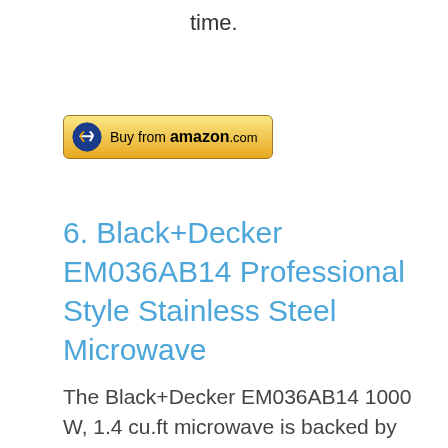time.
[Figure (other): Buy from amazon.com button with arrow logo]
6. Black+Decker EM036AB14 Professional Style Stainless Steel Microwave
The Black+Decker EM036AB14 1000 W, 1.4 cu.ft microwave is backed by nearly 175 years of innovation. After all;